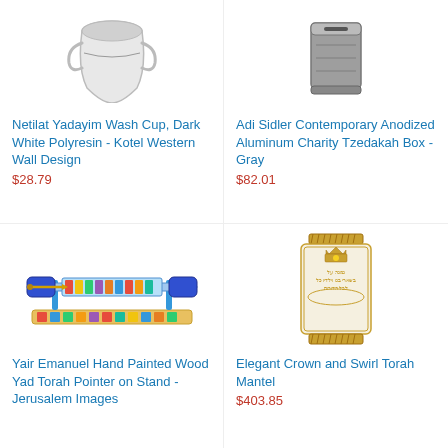[Figure (photo): Netilat Yadayim wash cup with Kotel Western Wall design in dark white polyresin]
Netilat Yadayim Wash Cup, Dark White Polyresin - Kotel Western Wall Design
$28.79
[Figure (photo): Adi Sidler contemporary anodized aluminum charity tzedakah box in gray]
Adi Sidler Contemporary Anodized Aluminum Charity Tzedakah Box - Gray
$82.01
[Figure (photo): Yair Emanuel hand painted wood Yad Torah pointer on stand with Jerusalem images]
Yair Emanuel Hand Painted Wood Yad Torah Pointer on Stand - Jerusalem Images
[Figure (photo): Elegant crown and swirl Torah mantel in white and gold with Hebrew text embroidery]
Elegant Crown and Swirl Torah Mantel
$403.85